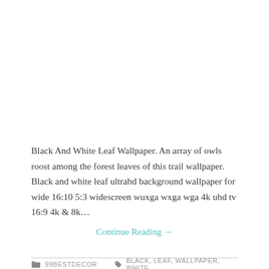Black And White Leaf Wallpaper. An array of owls roost among the forest leaves of this trail wallpaper. Black and white leaf ultrahd background wallpaper for wide 16:10 5:3 widescreen wuxga wxga wga 4k uhd tv 16:9 4k & 8k…
Continue Reading →
99BESTDECOR   BLACK, LEAF, WALLPAPER, WHITE